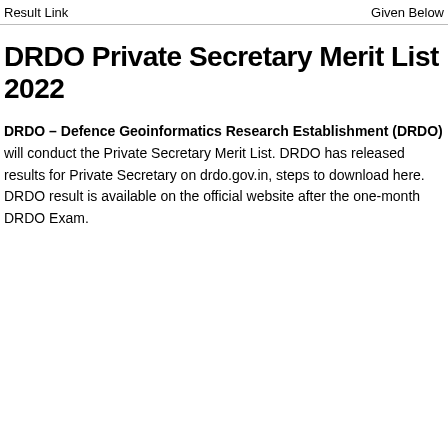Result Link    Given Below
DRDO Private Secretary Merit List 2022
DRDO – Defence Geoinformatics Research Establishment (DRDO) will conduct the Private Secretary Merit List. DRDO has released results for Private Secretary on drdo.gov.in, steps to download here. DRDO result is available on the official website after the one-month DRDO Exam.